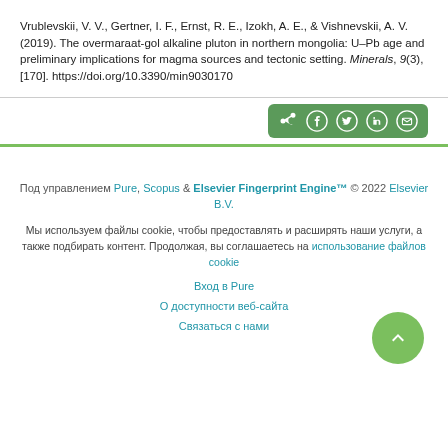Vrublevskii, V. V., Gertner, I. F., Ernst, R. E., Izokh, A. E., & Vishnevskii, A. V. (2019). The overmaraat-gol alkaline pluton in northern mongolia: U–Pb age and preliminary implications for magma sources and tectonic setting. Minerals, 9(3), [170]. https://doi.org/10.3390/min9030170
[Figure (infographic): Social share bar with icons for share, Facebook, Twitter, LinkedIn, and email on a green background]
Под управлением Pure, Scopus & Elsevier Fingerprint Engine™ © 2022 Elsevier B.V. Мы используем файлы cookie, чтобы предоставлять и расширять наши услуги, а также подбирать контент. Продолжая, вы соглашаетесь на использование файлов cookie. Вход в Pure. О доступности веб-сайта. Связаться с нами.